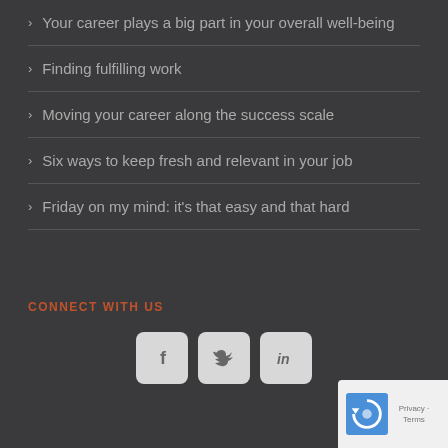Your career plays a big part in your overall well-being
Finding fulfilling work
Moving your career along the success scale
Six ways to keep fresh and relevant in your job
Friday on my mind: it's that easy and that hard
CONNECT WITH US
[Figure (other): Social media icons: Facebook, Twitter, LinkedIn buttons in light gray rounded squares]
[Figure (other): reCAPTCHA badge with Privacy and Terms links in bottom right corner]